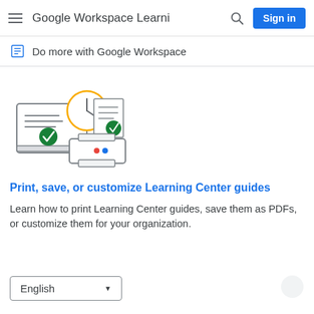Google Workspace Learni
Do more with Google Workspace
[Figure (illustration): Illustration showing a laptop with a document and green checkmark, a clock, a printed document with green checkmark, and a printer with red and blue ink indicators.]
Print, save, or customize Learning Center guides
Learn how to print Learning Center guides, save them as PDFs, or customize them for your organization.
English